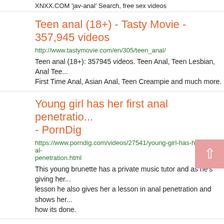XNXX.COM 'jav-anal' Search, free sex videos
Teen anal (18+) - Tasty Movie - 357,945 videos
http://www.tastymovie.com/en/305/teen_anal/
Teen anal (18+): 357945 videos. Teen Anal, Teen Lesbian, Anal Tee... First Time Anal, Asian Anal, Teen Creampie and much more.
Young girl has her first anal penetratio... - PornDig
https://www.porndig.com/videos/27541/young-girl-has-her-first-anal-penetration.html
This young brunette has a private music tutor and as he's giving her... lesson he also gives her a lesson in anal penetration and shows her... how its done.
'jav anal' Search - XVIDEOS.COM